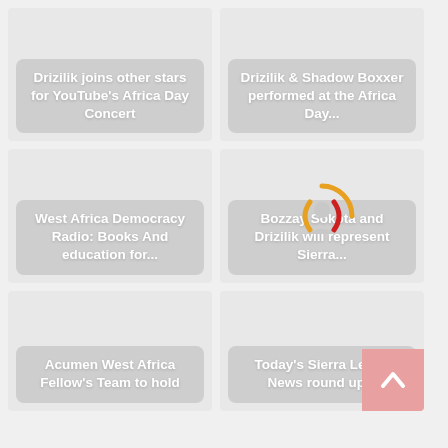[Figure (screenshot): Card grid of news articles from a Sierra Leone / West Africa news website]
Drizilik joins other stars for YouTube's Africa Day Concert
Drizilik & Shadow Boxxer performed at the Africa Day...
West Africa Democracy Radio: Books And education for...
Bozzay Sokota and Drizilik will represent Sierra...
Acumen West Africa Fellow's Team to hold
Today's Sierra Leone News round up...